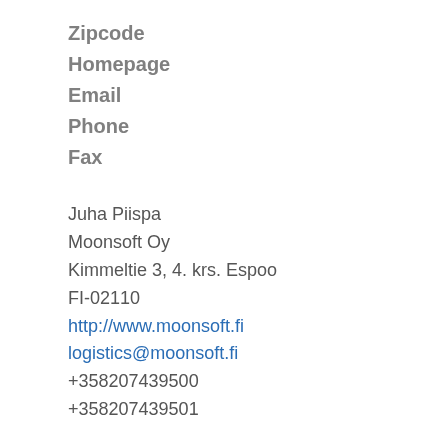Zipcode
Homepage
Email
Phone
Fax
Juha Piispa
Moonsoft Oy
Kimmeltie 3, 4. krs. Espoo
FI-02110
http://www.moonsoft.fi
logistics@moonsoft.fi
+358207439500
+358207439501
Name